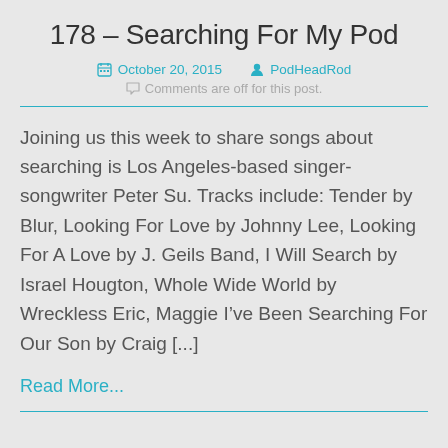178 – Searching For My Pod
October 20, 2015   PodHeadRod   Comments are off for this post.
Joining us this week to share songs about searching is Los Angeles-based singer-songwriter Peter Su. Tracks include: Tender by Blur, Looking For Love by Johnny Lee, Looking For A Love by J. Geils Band, I Will Search by Israel Hougton, Whole Wide World by Wreckless Eric, Maggie I've Been Searching For Our Son by Craig [...]
Read More...